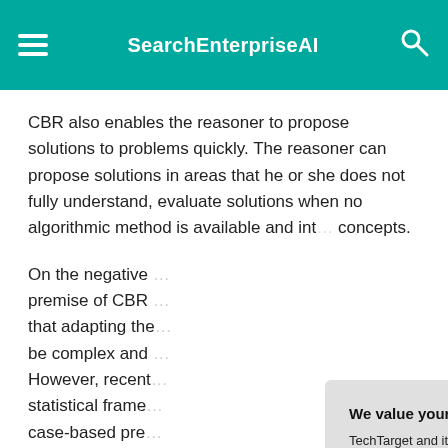SearchEnterpriseAI
CBR also enables the reasoner to propose solutions to problems quickly. The reasoner can propose solutions in areas that he or she does not fully understand, evaluate solutions when no algorithmic method is available and int… concepts.
On the negative … premise of CBR … that adapting the … be complex and … However, recent … statistical frame… case-based pre… confidence.
We value your privacy. TechTarget and its partners employ cookies to improve your experience on our site, to analyze traffic and performance, and to serve personalized content and advertising that are relevant to your professional interests. You can manage your settings at any time. Please view our Privacy Policy for more information